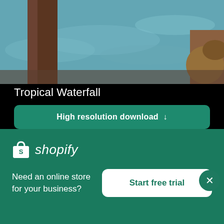[Figure (photo): Top portion of a tropical scene with brown tree trunks, turquoise water, and rocks]
Tropical Waterfall
High resolution download ↓
[Figure (photo): A tropical waterfall with white rushing water and dark green foliage in the background]
[Figure (logo): Shopify logo – white shopping bag icon and italic 'shopify' wordmark on green background]
Need an online store for your business?
Start free trial